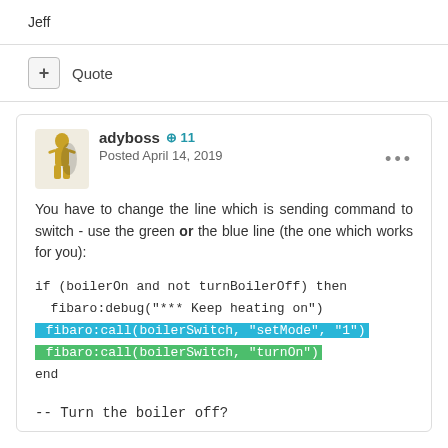Jeff
+ Quote
adyboss +11 Posted April 14, 2019
You have to change the line which is sending command to switch - use the green or the blue line (the one which works for you):
if (boilerOn and not turnBoilerOff) then
  fibaro:debug("*** Keep heating on")
  fibaro:call(boilerSwitch, "setMode", "1")
  fibaro:call(boilerSwitch, "turnOn")
end
-- Turn the boiler off?